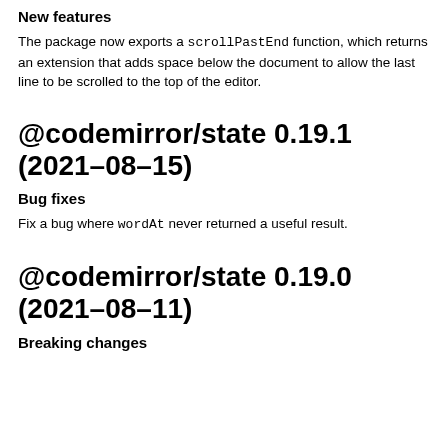New features
The package now exports a scrollPastEnd function, which returns an extension that adds space below the document to allow the last line to be scrolled to the top of the editor.
@codemirror/state 0.19.1 (2021-08-15)
Bug fixes
Fix a bug where wordAt never returned a useful result.
@codemirror/state 0.19.0 (2021-08-11)
Breaking changes